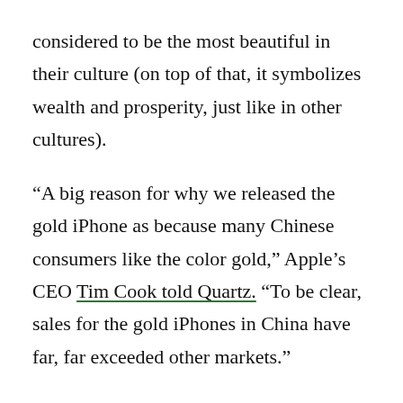considered to be the most beautiful in their culture (on top of that, it symbolizes wealth and prosperity, just like in other cultures).
“A big reason for why we released the gold iPhone as because many Chinese consumers like the color gold,” Apple’s CEO Tim Cook told Quartz. “To be clear, sales for the gold iPhones in China have far, far exceeded other markets.”
This applies to digital products as well. For example, if you take a look at Yahoo! website in different countries, you’ll notice how the content changes according to the target users’